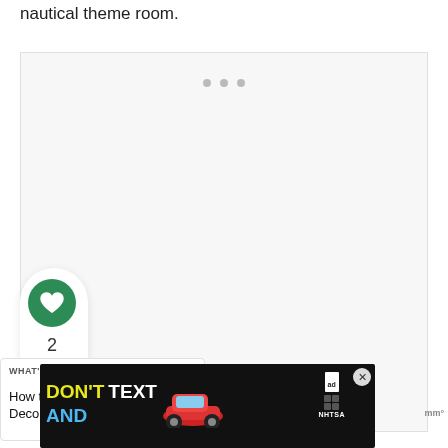nautical theme room.
[Figure (photo): Large image placeholder area with light gray background and three small gray dots at top center, representing a slideshow or gallery image of a nautical themed room.]
[Figure (infographic): Side action panel with green heart/like button, like count of 2, and share button on white rounded card background.]
2
[Figure (screenshot): What's Next panel showing 'How to Decorate a...' with a circular thumbnail image.]
[Figure (screenshot): Advertisement banner: DON'T TEXT AND [car image] with NHTSA logo and ad badge. Close button (X) in top right.]